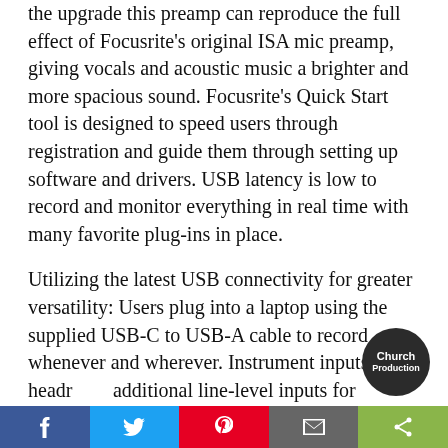the upgrade this preamp can reproduce the full effect of Focusrite's original ISA mic preamp, giving vocals and acoustic music a brighter and more spacious sound. Focusrite's Quick Start tool is designed to speed users through registration and guide them through setting up software and drivers. USB latency is low to record and monitor everything in real time with many favorite plug-ins in place.
Utilizing the latest USB connectivity for greater versatility: Users plug into a laptop using the supplied USB-C to USB-A cable to record whenever and wherever. Instrument inputs with headroom additional line-level inputs for flexible recording.